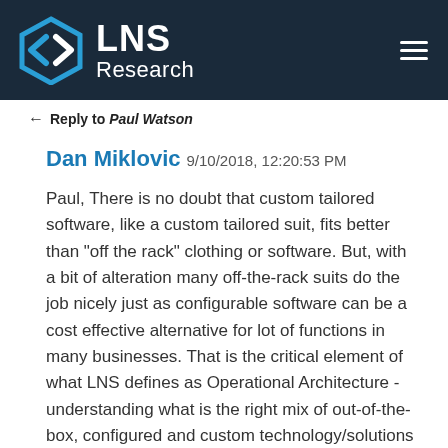LNS Research
← Reply to Paul Watson
Dan Miklovic 9/10/2018, 12:20:53 PM
Paul, There is no doubt that custom tailored software, like a custom tailored suit, fits better than "off the rack" clothing or software. But, with a bit of alteration many off-the-rack suits do the job nicely just as configurable software can be a cost effective alternative for lot of functions in many businesses. That is the critical element of what LNS defines as Operational Architecture - understanding what is the right mix of out-of-the-box, configured and custom technology/solutions